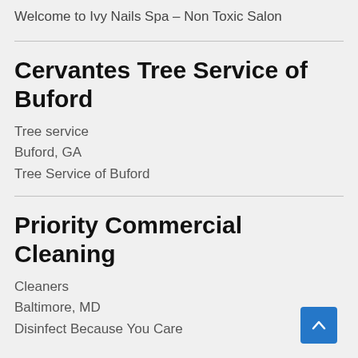Welcome to Ivy Nails Spa – Non Toxic Salon
Cervantes Tree Service of Buford
Tree service
Buford, GA
Tree Service of Buford
Priority Commercial Cleaning
Cleaners
Baltimore, MD
Disinfect Because You Care